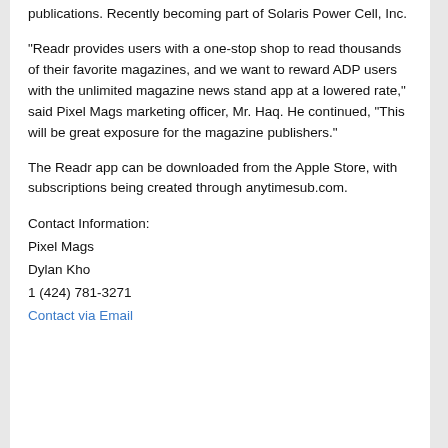publications. Recently becoming part of Solaris Power Cell, Inc.
“Readr provides users with a one-stop shop to read thousands of their favorite magazines, and we want to reward ADP users with the unlimited magazine news stand app at a lowered rate,” said Pixel Mags marketing officer, Mr. Haq. He continued, "This will be great exposure for the magazine publishers."
The Readr app can be downloaded from the Apple Store, with subscriptions being created through anytimesub.com.
Contact Information:
Pixel Mags
Dylan Kho
1 (424) 781-3271
Contact via Email